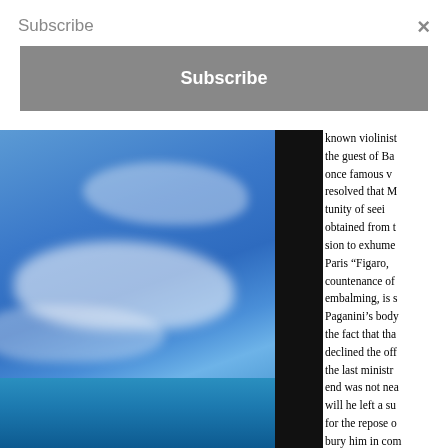Subscribe
×
Subscribe
[Figure (photo): Blue sky with white clouds photograph]
known violinist the guest of Ba once famous v resolved that M tunity of seei obtained from t sion to exhume Paris "Figaro, countenance of embalming, is s Paganini's body the fact that tha declined the off the last ministr end was not nea will he left a su for the repose o bury him in com